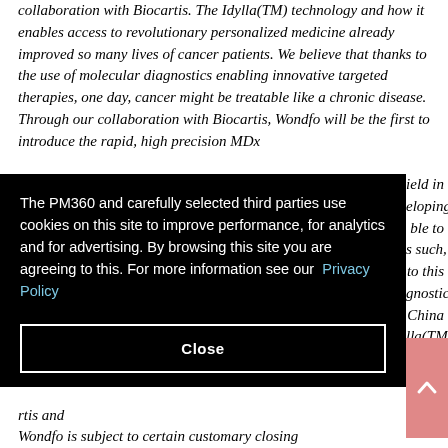collaboration with Biocartis. The Idylla(TM) technology and how it enables access to revolutionary personalized medicine already improved so many lives of cancer patients. We believe that thanks to the use of molecular diagnostics enabling innovative targeted therapies, one day, cancer might be treatable like a chronic disease. Through our collaboration with Biocartis, Wondfo will be the first to introduce the rapid, high precision MDx [field in] [eloping] [ble to] [s such,] [to this] [gnostic] [China] [la(TM)]
[Figure (screenshot): Cookie consent popup overlay with black background. Text reads: 'The PM360 and carefully selected third parties use cookies on this site to improve performance, for analytics and for advertising. By browsing this site you are agreeing to this. For more information see our Privacy Policy'. Contains a 'Close' button at the bottom.]
rtis and Wondfo is subject to certain customary closing...